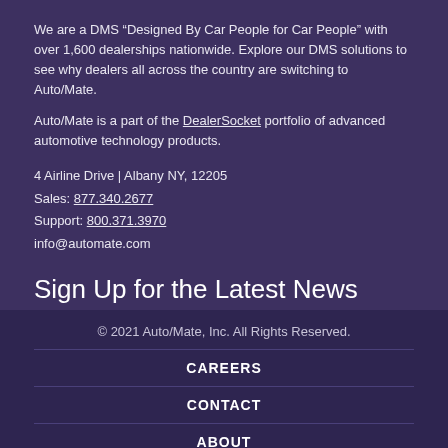We are a DMS “Designed By Car People for Car People” with over 1,600 dealerships nationwide. Explore our DMS solutions to see why dealers all across the country are switching to Auto/Mate.
Auto/Mate is a part of the DealerSocket portfolio of advanced automotive technology products.
4 Airline Drive | Albany NY, 12205
Sales: 877.340.2677
Support: 800.371.3970
info@automate.com
Sign Up for the Latest News
Subscribe →
© 2021 Auto/Mate, Inc. All Rights Reserved.
CAREERS
CONTACT
ABOUT